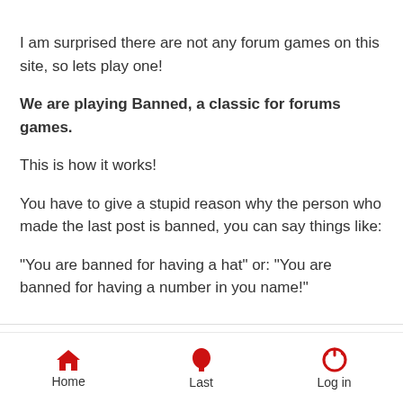I am surprised there are not any forum games on this site, so lets play one!
We are playing Banned, a classic for forums games.
This is how it works!
You have to give a stupid reason why the person who made the last post is banned, you can say things like:
"You are banned for having a hat" or: "You are banned for having a number in you name!"
[Figure (illustration): Yellow smiley face emoji with tongue sticking out]
(lets be original and not use those [emoji] )
So lets start!
EDIT: Just in case if 2 people post at the same time, if that do happens, then whoever posted last, please edit your post!
Home | Last | Log in